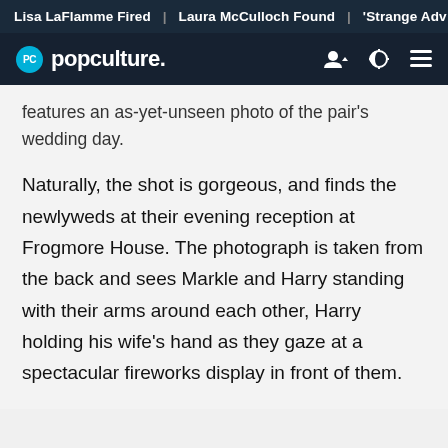Lisa LaFlamme Fired | Laura McCulloch Found | 'Strange Adv
PC popculture.
features an as-yet-unseen photo of the pair's wedding day.
Naturally, the shot is gorgeous, and finds the newlyweds at their evening reception at Frogmore House. The photograph is taken from the back and sees Markle and Harry standing with their arms around each other, Harry holding his wife's hand as they gaze at a spectacular fireworks display in front of them.